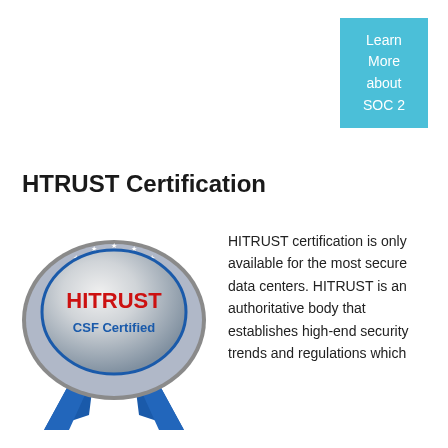Learn More about SOC 2
HTRUST Certification
[Figure (logo): HITRUST CSF Certified badge — a silver oval medal with 'HITRUST' in red and 'CSF Certified' in blue text, surrounded by a blue ribbon with white stars and blue ribbon tails below.]
HITRUST certification is only available for the most secure data centers. HITRUST is an authoritative body that establishes high-end security trends and regulations which